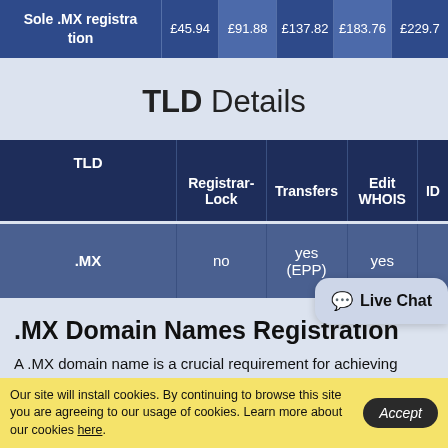| Sole .MX registration | £45.94 | £91.88 | £137.82 | £183.76 | £229.7 |
| --- | --- | --- | --- | --- | --- |
TLD Details
| TLD | Registrar-Lock | Transfers | Edit WHOIS | ID |
| --- | --- | --- | --- | --- |
| .MX | no | yes (EPP) | yes |  |
.MX Domain Names Registration
A .MX domain name is a crucial requirement for achieving
Our site will install cookies. By continuing to browse this site you are agreeing to our usage of cookies. Learn more about our cookies here.